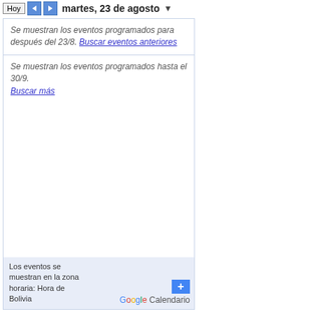Hoy   martes, 23 de agosto
Se muestran los eventos programados para después del 23/8. Buscar eventos anteriores
Se muestran los eventos programados hasta el 30/9. Buscar más
Los eventos se muestran en la zona horaria: Hora de Bolivia
Search
Search for:
Proudly powered by WordPress